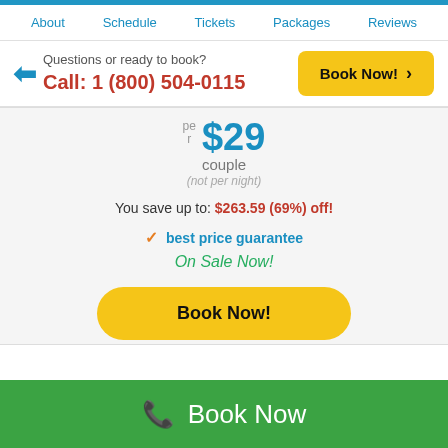About | Schedule | Tickets | Packages | Reviews
Questions or ready to book? Call: 1 (800) 504-0115
Book Now! >
$29 per couple (not per night)
You save up to: $263.59 (69%) off!
✓ best price guarantee
On Sale Now!
Book Now!
📞 Book Now